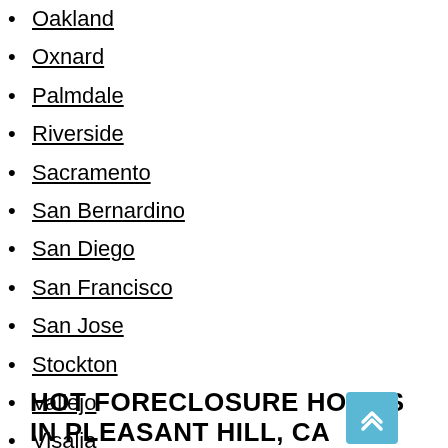Oakland
Oxnard
Palmdale
Riverside
Sacramento
San Bernardino
San Diego
San Francisco
San Jose
Stockton
Vallejo
Visalia
HOT FORECLOSURE HOMES IN PLEASANT HILL, CA